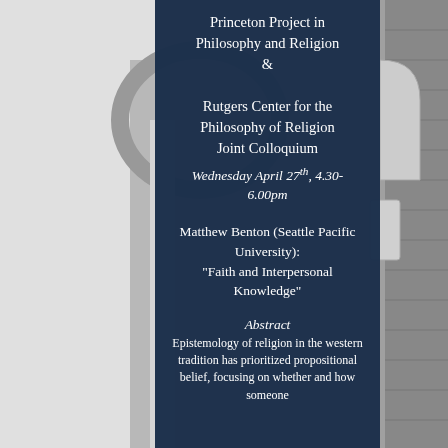[Figure (photo): Black and white photo of a Gothic/collegiate stone archway and brick building, viewed from below and to the side]
Princeton Project in Philosophy and Religion & Rutgers Center for the Philosophy of Religion Joint Colloquium
Wednesday April 27th, 4.30-6.00pm
Matthew Benton (Seattle Pacific University): "Faith and Interpersonal Knowledge"
Abstract
Epistemology of religion in the western tradition has prioritized propositional belief, focusing on whether and how someone